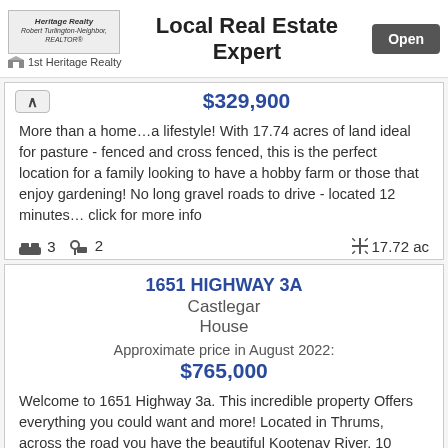Local Real Estate Expert | 1st Heritage Realty | Open
$329,900
More than a home…a lifestyle! With 17.74 acres of land ideal for pasture - fenced and cross fenced, this is the perfect location for a family looking to have a hobby farm or those that enjoy gardening! No long gravel roads to drive - located 12 minutes… click for more info
3 beds  2 baths  17.72 ac
1651 HIGHWAY 3A
Castlegar
House
Approximate price in August 2022:
$765,000
Welcome to 1651 Highway 3a. This incredible property Offers everything you could want and more! Located in Thrums, across the road you have the beautiful Kootenay River, 10 minute drive to Castlegar and a 25 minute drive to Nelson. The 1.37 acres are… click for more info
5 beds  3 baths  59677 sqft
1743 HIGHLAND DRIVE